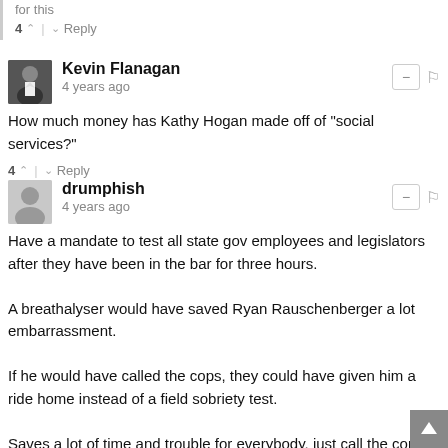for this
4 ^ | v Reply
Kevin Flanagan
4 years ago
How much money has Kathy Hogan made off of "social services?"
4 ^ | v Reply
drumphish
4 years ago
Have a mandate to test all state gov employees and legislators after they have been in the bar for three hours.

A breathalyser would have saved Ryan Rauschenberger a lot embarrassment.

If he would have called the cops, they could have given him a ride home instead of a field sobriety test.

Saves a lot of time and trouble for everybody, just call the cops.